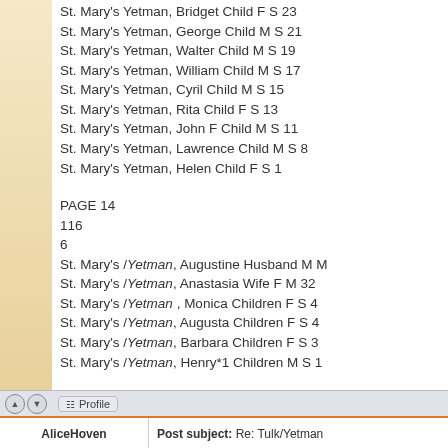St. Mary's Yetman, Bridget Child F S 23
St. Mary's Yetman, George Child M S 21
St. Mary's Yetman, Walter Child M S 19
St. Mary's Yetman, William Child M S 17
St. Mary's Yetman, Cyril Child M S 15
St. Mary's Yetman, Rita Child F S 13
St. Mary's Yetman, John F Child M S 11
St. Mary's Yetman, Lawrence Child M S 8
St. Mary's Yetman, Helen Child F S 1
PAGE 14
116
6
St. Mary's /Yetman, Augustine Husband M M
St. Mary's /Yetman, Anastasia Wife F M 32
St. Mary's /Yetman , Monica Children F S 4
St. Mary's /Yetman, Augusta Children F S 4
St. Mary's /Yetman, Barbara Children F S 3
St. Mary's /Yetman, Henry*1 Children M S 1
AliceHoven
Post subject: Re: Tulk/Yetman